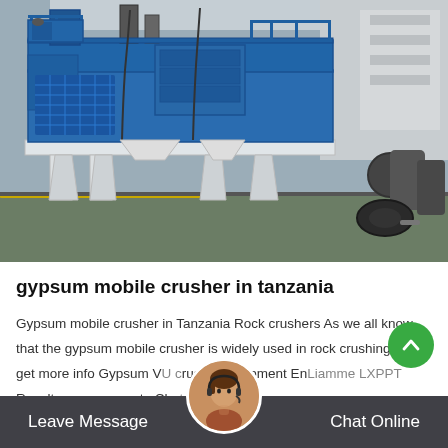[Figure (photo): A large blue industrial mobile crusher machine on a factory floor, with yellow floor markings and various metal parts and tires visible in the background.]
gypsum mobile crusher in tanzania
Gypsum mobile crusher in Tanzania Rock crushers As we all know that the gypsum mobile crusher is widely used in rock crushing plant get more info Gypsum VU crusher equipment EnLiamme LXPPT Results gypsum waste Chat Online...